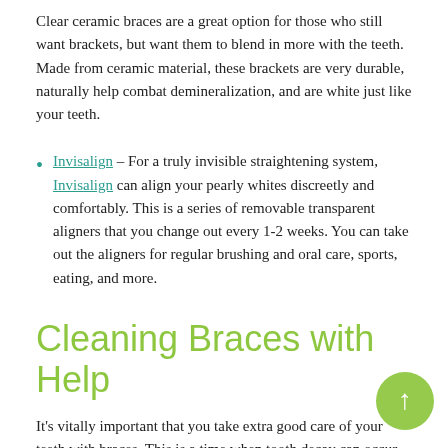Clear ceramic braces are a great option for those who still want brackets, but want them to blend in more with the teeth. Made from ceramic material, these brackets are very durable, naturally help combat demineralization, and are white just like your teeth.
Invisalign – For a truly invisible straightening system, Invisalign can align your pearly whites discreetly and comfortably. This is a series of removable transparent aligners that you change out every 1-2 weeks. You can take out the aligners for regular brushing and oral care, sports, eating, and more.
Cleaning Braces with Help
It's vitally important that you take extra good care of your teeth with braces. This is a time when tooth decay can occur in many parts of your mouth. Brackets and wires in your mouth make it easier for food particles to get stuck, leading to other dental issues if proper care is not taken. With braces, we suggest brushing your teeth after every single meal instead of just twice a day. You can use a regular